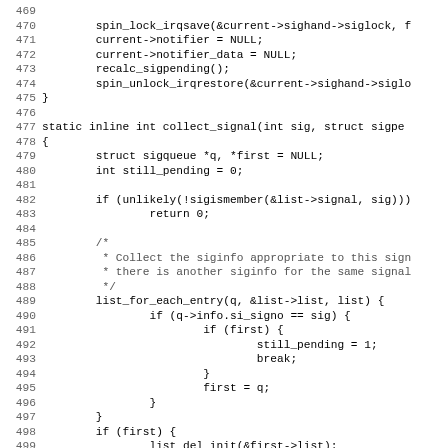[Figure (other): Source code listing (C language) showing lines 469-501, including functions with spin_lock_irqsave, collect_signal, list_for_each_entry, and related signal handling code.]